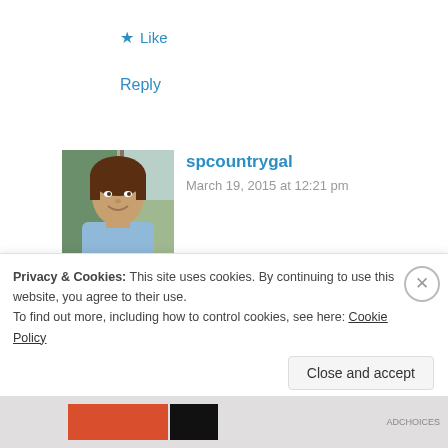★ Like
Reply
[Figure (photo): Avatar photo of spcountrygal, a woman smiling outdoors near a tree]
spcountrygal
March 19, 2015 at 12:21 pm
Hi, Ericka! I didn't mod modge over the letters, but I think that I will since the adhesive on the vinyl that I used isn't as strong as the vinyl that I usually use. Thanks for
Privacy & Cookies: This site uses cookies. By continuing to use this website, you agree to their use.
To find out more, including how to control cookies, see here: Cookie Policy
Close and accept